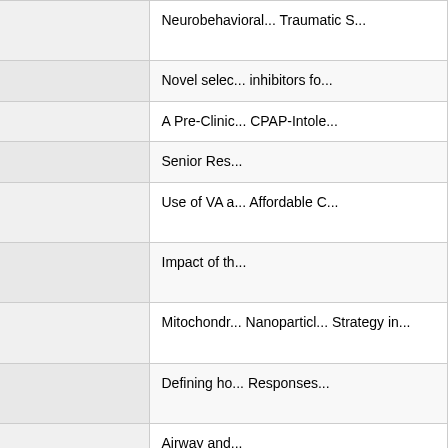| Grant ID | Title |
| --- | --- |
| I01CX000816-01A2 | Neurobehavioral... Traumatic S... |
| I01BX004089-01 | Novel selec... inhibitors fo... |
| I21RX002041-01 | A Pre-Clinic... CPAP-Intole... |
| 15F-RCS-011 | Senior Res... |
| I01HX001573-01A1 | Use of VA a... Affordable C... |
| I01HX002331-01A1 | Impact of th... |
| I01BX003938-01A1 | Mitochondr... Nanoparticl... Strategy in... |
| I01CX001460-01A1 | Defining ho... Responses... |
| I01BX002035-01A2 | Airway and... |
| I01BX001090- | Role of Me... |